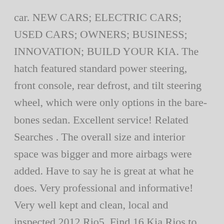car. NEW CARS; ELECTRIC CARS; USED CARS; OWNERS; BUSINESS; INNOVATION; BUILD YOUR KIA. The hatch featured standard power steering, front console, rear defrost, and tilt steering wheel, which were only options in the bare-bones sedan. Excellent service! Related Searches . The overall size and interior space was bigger and more airbags were added. Have to say he is great at what he does. Very professional and informative! Very well kept and clean, local and inspected 2012 Rio5. Find 16 Kia Rios to lease. Dealer responded quickly. 0L. The first Rio featured a 1.5-liter, 96-hp DOHC I4 engine with a choice of 5-speed manual or 4-speed automatic.